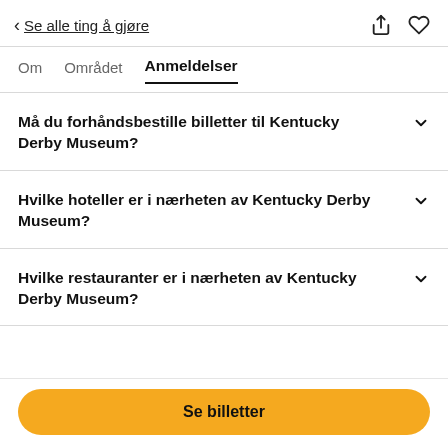< Se alle ting å gjøre
Om   Området   Anmeldelser
Må du forhåndsbestille billetter til Kentucky Derby Museum?
Hvilke hoteller er i nærheten av Kentucky Derby Museum?
Hvilke restauranter er i nærheten av Kentucky Derby Museum?
Se billetter